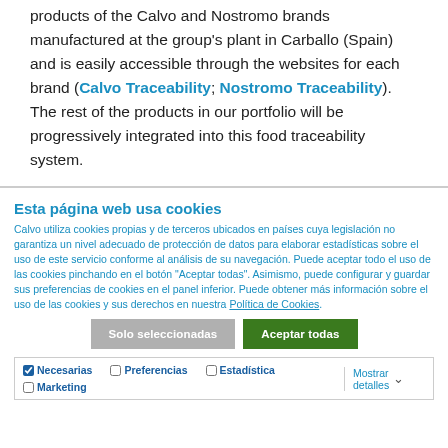products of the Calvo and Nostromo brands manufactured at the group's plant in Carballo (Spain) and is easily accessible through the websites for each brand (Calvo Traceability; Nostromo Traceability). The rest of the products in our portfolio will be progressively integrated into this food traceability system.
Esta página web usa cookies
Calvo utiliza cookies propias y de terceros ubicados en países cuya legislación no garantiza un nivel adecuado de protección de datos para elaborar estadísticas sobre el uso de este servicio conforme al análisis de su navegación. Puede aceptar todo el uso de las cookies pinchando en el botón "Aceptar todas". Asimismo, puede configurar y guardar sus preferencias de cookies en el panel inferior. Puede obtener más información sobre el uso de las cookies y sus derechos en nuestra Política de Cookies.
Solo seleccionadas | Aceptar todas
Necesarias  Preferencias  Estadística  Marketing  Mostrar detalles